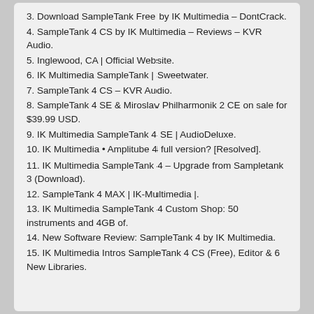3. Download SampleTank Free by IK Multimedia – DontCrack.
4. SampleTank 4 CS by IK Multimedia – Reviews – KVR Audio.
5. Inglewood, CA | Official Website.
6. IK Multimedia SampleTank | Sweetwater.
7. SampleTank 4 CS – KVR Audio.
8. SampleTank 4 SE & Miroslav Philharmonik 2 CE on sale for $39.99 USD.
9. IK Multimedia SampleTank 4 SE | AudioDeluxe.
10. IK Multimedia • Amplitube 4 full version? [Resolved].
11. IK Multimedia SampleTank 4 – Upgrade from Sampletank 3 (Download).
12. SampleTank 4 MAX | IK-Multimedia |.
13. IK Multimedia SampleTank 4 Custom Shop: 50 instruments and 4GB of.
14. New Software Review: SampleTank 4 by IK Multimedia.
15. IK Multimedia Intros SampleTank 4 CS (Free), Editor & 6 New Libraries.